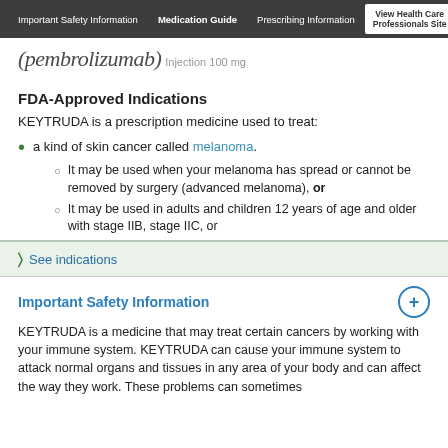Important Safety Information | Medication Guide | Prescribing Information | View Health Care Professionals Site
(pembrolizumab) Injection 100 mg
FDA-Approved Indications
KEYTRUDA is a prescription medicine used to treat:
a kind of skin cancer called melanoma.
It may be used when your melanoma has spread or cannot be removed by surgery (advanced melanoma), or
It may be used in adults and children 12 years of age and older with stage IIB, stage IIC, or
See indications
Important Safety Information
KEYTRUDA is a medicine that may treat certain cancers by working with your immune system. KEYTRUDA can cause your immune system to attack normal organs and tissues in any area of your body and can affect the way they work. These problems can sometimes